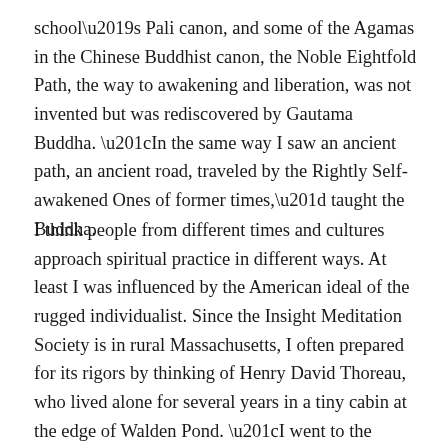school's Pali canon, and some of the Agamas in the Chinese Buddhist canon, the Noble Eightfold Path, the way to awakening and liberation, was not invented but was rediscovered by Gautama Buddha. “In the same way I saw an ancient path, an ancient road, traveled by the Rightly Self-awakened Ones of former times,” taught the Buddha.
I think people from different times and cultures approach spiritual practice in different ways. At least I was influenced by the American ideal of the rugged individualist. Since the Insight Meditation Society is in rural Massachusetts, I often prepared for its rigors by thinking of Henry David Thoreau, who lived alone for several years in a tiny cabin at the edge of Walden Pond. “I went to the woods because I wished to live deliberately, to front only the essential facts of life.” I went on retreat because I desperately wanted to know what it means to be alive. But I went believing that one should be self-sufficient